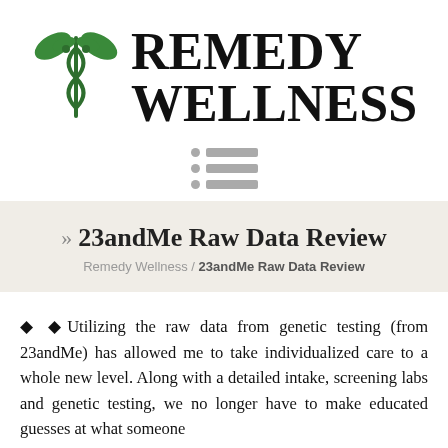[Figure (logo): Remedy Wellness logo with a caduceus-style medical symbol with green leaves and the text REMEDY WELLNESS in large serif bold font]
[Figure (other): Hamburger menu icon with three rows each containing a gray dot and a gray horizontal line]
» 23andMe Raw Data Review
Remedy Wellness / 23andMe Raw Data Review
❖ ❖Utilizing the raw data from genetic testing (from 23andMe) has allowed me to take individualized care to a whole new level. Along with a detailed intake, screening labs and genetic testing, we no longer have to make educated guesses at what someone